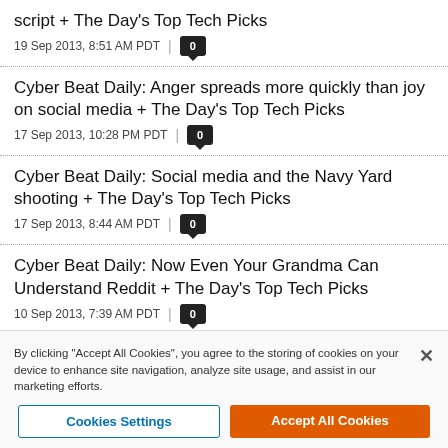Cyber Beat Daily: + Transcript + The Day's Top Tech Picks
19 Sep 2013, 8:51 AM PDT | 0
Cyber Beat Daily: Anger spreads more quickly than joy on social media + The Day's Top Tech Picks
17 Sep 2013, 10:28 PM PDT | 0
Cyber Beat Daily: Social media and the Navy Yard shooting + The Day's Top Tech Picks
17 Sep 2013, 8:44 AM PDT | 0
Cyber Beat Daily: Now Even Your Grandma Can Understand Reddit + The Day's Top Tech Picks
10 Sep 2013, 7:39 AM PDT | 0
By clicking "Accept All Cookies", you agree to the storing of cookies on your device to enhance site navigation, analyze site usage, and assist in our marketing efforts.
Cookies Settings | Accept All Cookies